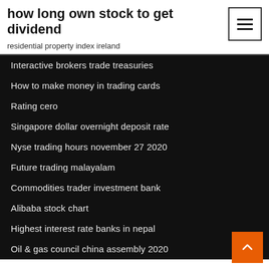how long own stock to get dividend
residential property index ireland
Interactive brokers trade treasuries
How to make money in trading cards
Rating cero
Singapore dollar overnight deposit rate
Nyse trading hours november 27 2020
Future trading malayalam
Commodities trader investment bank
Alibaba stock chart
Highest interest rate banks in nepal
Oil & gas council china assembly 2020